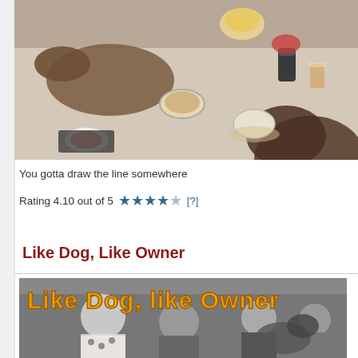[Figure (photo): Dogs on a floor surrounded by spilled food, drinks, and cans viewed from above]
You gotta draw the line somewhere
Rating 4.10 out of 5  ★★★★☆ [?]
Like Dog, Like Owner
[Figure (photo): Black and white photo of people at an outdoor event with 'Like Dog, like Owner' text overlay in orange/yellow block letters]